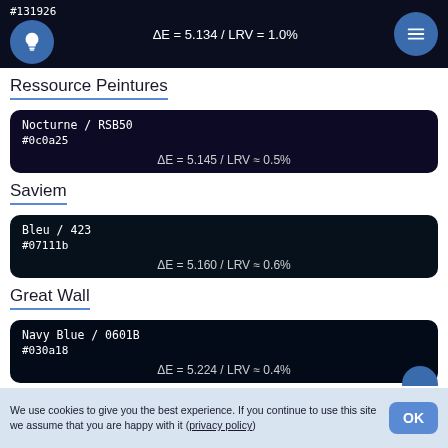#131926 ΔE = 5.134 / LRV = 1.0%
Ressource Peintures
Nocturne / RSB50
#0c0a25
ΔE = 5.145 / LRV ≈ 0.5%
Saviem
Bleu / 423
#07111b
ΔE = 5.160 / LRV ≈ 0.6%
Great Wall
Navy Blue / 0601B
#030a18
ΔE = 5.224 / LRV ≈ 0.4%
We use cookies to give you the best experience. If you continue to use this site we assume that you are happy with it (privacy policy)